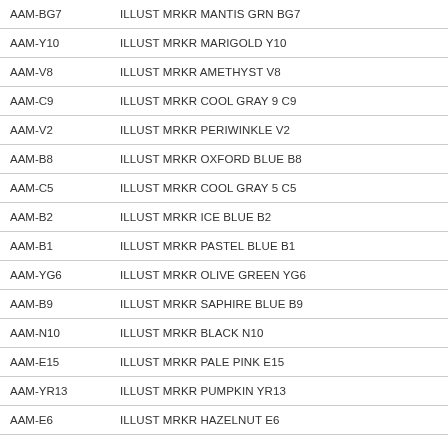| SKU | Description | Price |
| --- | --- | --- |
| AAM-BG7 | ILLUST MRKR MANTIS GRN BG7 | $3.09 |
| AAM-Y10 | ILLUST MRKR MARIGOLD Y10 | $3.09 |
| AAM-V8 | ILLUST MRKR AMETHYST V8 | $3.09 |
| AAM-C9 | ILLUST MRKR COOL GRAY 9 C9 | $3.09 |
| AAM-V2 | ILLUST MRKR PERIWINKLE V2 | $3.09 |
| AAM-B8 | ILLUST MRKR OXFORD BLUE B8 | $3.09 |
| AAM-C5 | ILLUST MRKR COOL GRAY 5 C5 | $3.09 |
| AAM-B2 | ILLUST MRKR ICE BLUE B2 | $3.09 |
| AAM-B1 | ILLUST MRKR PASTEL BLUE B1 | $3.09 |
| AAM-YG6 | ILLUST MRKR OLIVE GREEN YG6 | $3.09 |
| AAM-B9 | ILLUST MRKR SAPHIRE BLUE B9 | $3.09 |
| AAM-N10 | ILLUST MRKR BLACK N10 | $3.09 |
| AAM-E15 | ILLUST MRKR PALE PINK E15 | $3.09 |
| AAM-YR13 | ILLUST MRKR PUMPKIN YR13 | $3.09 |
| AAM-E6 | ILLUST MRKR HAZELNUT E6 | $3.09 |